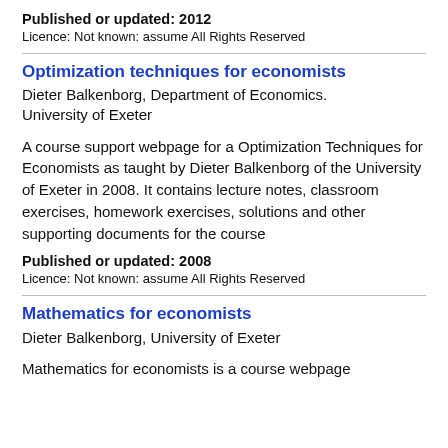Published or updated: 2012
Licence: Not known: assume All Rights Reserved
Optimization techniques for economists
Dieter Balkenborg, Department of Economics. University of Exeter
A course support webpage for a Optimization Techniques for Economists as taught by Dieter Balkenborg of the University of Exeter in 2008. It contains lecture notes, classroom exercises, homework exercises, solutions and other supporting documents for the course
Published or updated: 2008
Licence: Not known: assume All Rights Reserved
Mathematics for economists
Dieter Balkenborg, University of Exeter
Mathematics for economists is a course webpage